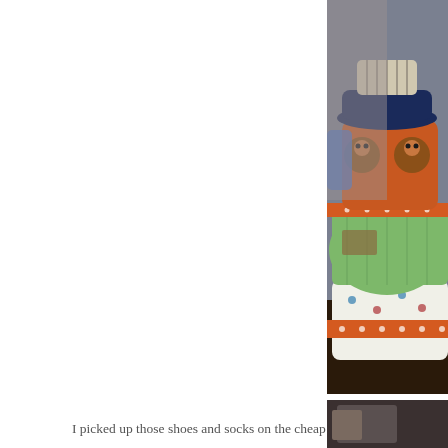[Figure (photo): A colorful diaper cake made of rolled diapers, decorated with orange polka-dot ribbon, green patterned fabric, baby clothing with cars pattern, and animal-themed accessories on top, displayed on a dark surface with flowers in background.]
Here is the final
I picked up those shoes and socks on the cheap at Old N coupon! SCO
[Figure (photo): Partial view of another photo at the bottom right corner.]